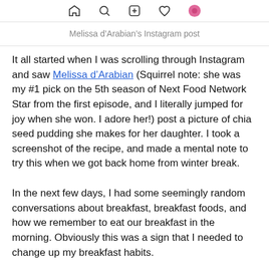[navigation icons: home, search, plus, heart, profile]
Melissa d’Arabian’s Instagram post
It all started when I was scrolling through Instagram and saw Melissa d’Arabian (Squirrel note: she was my #1 pick on the 5th season of Next Food Network Star from the first episode, and I literally jumped for joy when she won. I adore her!) post a picture of chia seed pudding she makes for her daughter. I took a screenshot of the recipe, and made a mental note to try this when we got back home from winter break.
In the next few days, I had some seemingly random conversations about breakfast, breakfast foods, and how we remember to eat our breakfast in the morning. Obviously this was a sign that I needed to change up my breakfast habits.